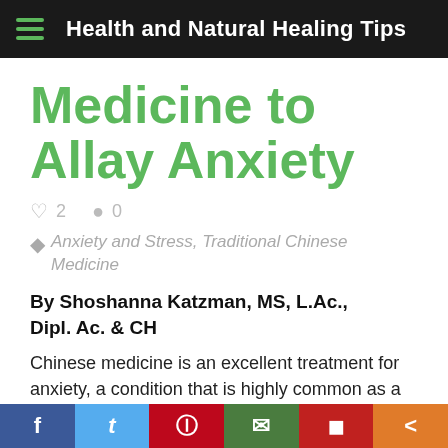Health and Natural Healing Tips
Medicine to Allay Anxiety
♥ 2  ● 0
Anxiety and Stress, Traditional Chinese Medicine
By Shoshanna Katzman, MS, L.Ac., Dipl. Ac. & CH
Chinese medicine is an excellent treatment for anxiety, a condition that is highly common as a result of today's fast-paced lifestyle...
f  t  p  email  Flipboard  share